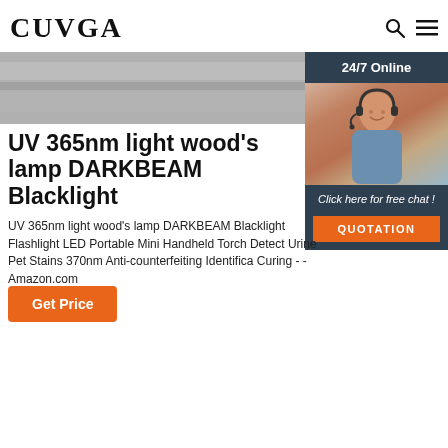CUVGA
[Figure (photo): Gray metallic banner image at top of page]
[Figure (photo): 24/7 Online customer service agent sidebar widget with woman wearing headset, chat CTA and QUOTATION button]
UV 365nm light wood's lamp DARKBEAM Blacklight
UV 365nm light wood's lamp DARKBEAM Blacklight Flashlight LED Portable Mini Handheld Torch Detect Urine Pet Stains 370nm Anti-counterfeiting Identifica Curing - - Amazon.com
Get Price